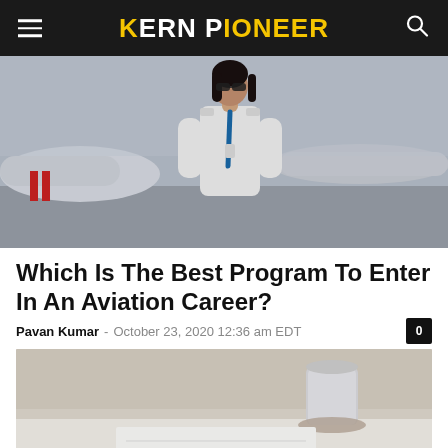KERN PIONEER
[Figure (photo): Female pilot or aviation professional in white shirt and lanyard walking near small aircraft on tarmac]
Which Is The Best Program To Enter In An Aviation Career?
Pavan Kumar - October 23, 2020 12:36 am EDT
[Figure (photo): Desk with pen, notebook, and coffee cup in a blurred study or work setting]